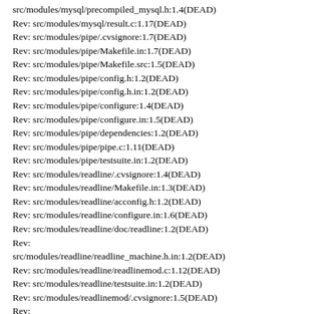src/modules/mysql/precompiled_mysql.h:1.4(DEAD)
Rev: src/modules/mysql/result.c:1.17(DEAD)
Rev: src/modules/pipe/.cvsignore:1.7(DEAD)
Rev: src/modules/pipe/Makefile.in:1.7(DEAD)
Rev: src/modules/pipe/Makefile.src:1.5(DEAD)
Rev: src/modules/pipe/config.h:1.2(DEAD)
Rev: src/modules/pipe/config.h.in:1.2(DEAD)
Rev: src/modules/pipe/configure:1.4(DEAD)
Rev: src/modules/pipe/configure.in:1.5(DEAD)
Rev: src/modules/pipe/dependencies:1.2(DEAD)
Rev: src/modules/pipe/pipe.c:1.11(DEAD)
Rev: src/modules/pipe/testsuite.in:1.2(DEAD)
Rev: src/modules/readline/.cvsignore:1.4(DEAD)
Rev: src/modules/readline/Makefile.in:1.3(DEAD)
Rev: src/modules/readline/acconfig.h:1.2(DEAD)
Rev: src/modules/readline/configure.in:1.6(DEAD)
Rev: src/modules/readline/doc/readline:1.2(DEAD)
Rev: src/modules/readline/readline_machine.h.in:1.2(DEAD)
Rev: src/modules/readline/readlinemod.c:1.12(DEAD)
Rev: src/modules/readline/testsuite.in:1.2(DEAD)
Rev: src/modules/readlinemod/.cvsignore:1.5(DEAD)
Rev: src/modules/readlinemod/Makefile.in:1.6(DEAD)
Rev: